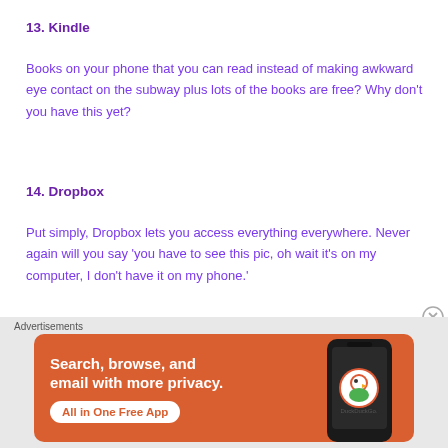13. Kindle
Books on your phone that you can read instead of making awkward eye contact on the subway plus lots of the books are free? Why don't you have this yet?
14. Dropbox
Put simply, Dropbox lets you access everything everywhere. Never again will you say 'you have to see this pic, oh wait it's on my computer, I don't have it on my phone.'
[Figure (infographic): DuckDuckGo advertisement banner on orange background with text: Search, browse, and email with more privacy. All in One Free App. Shows a smartphone with DuckDuckGo logo.]
Advertisements